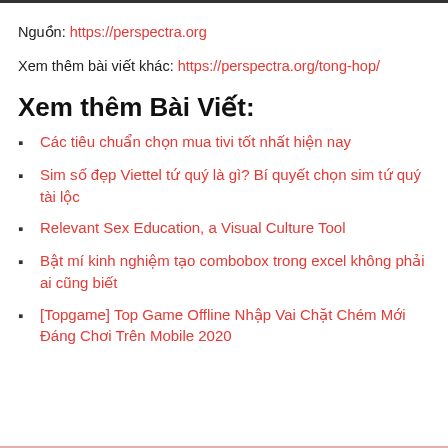Nguồn: https://perspectra.org
Xem thêm bài viết khác: https://perspectra.org/tong-hop/
Xem thêm Bài Viết:
Các tiêu chuẩn chọn mua tivi tốt nhất hiện nay
Sim số đẹp Viettel tứ quý là gì? Bí quyết chọn sim tứ quý tài lộc
Relevant Sex Education, a Visual Culture Tool
Bật mí kinh nghiệm tạo combobox trong excel không phải ai cũng biết
[Topgame] Top Game Offline Nhập Vai Chặt Chém Mới Đáng Chơi Trên Mobile 2020